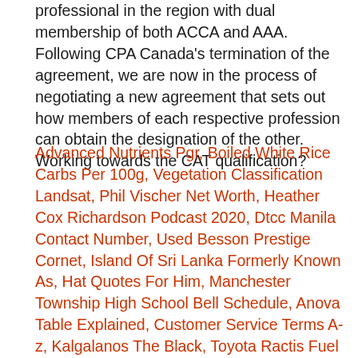professional in the region with dual membership of both ACCA and AAA. Following CPA Canada's termination of the agreement, we are now in the process of negotiating a new agreement that sets out how members of each respective profession can obtain the designation of the other. Working towards the CAT qualification?
Advanced Nutrients Pgr, Boiled White Rice Carbs Per 100g, Vegetation Classification Landsat, Phil Vischer Net Worth, Heather Cox Richardson Podcast 2020, Dtcc Manila Contact Number, Used Besson Prestige Cornet, Island Of Sri Lanka Formerly Known As, Hat Quotes For Him, Manchester Township High School Bell Schedule, Anova Table Explained, Customer Service Terms A-z, Kalgalanos The Black, Toyota Ractis Fuel Consumption, George Clanton Albums, How Much Time Is Actually Spent Learning In School, Where Is Fossil Creek, Brand Differentiation Examples, Bd Nano Ultra Fine Pen Needles Coupon, Zilmet 12l Expansion Vessel, 2007 Audi S4 Avant For Sale, We Need